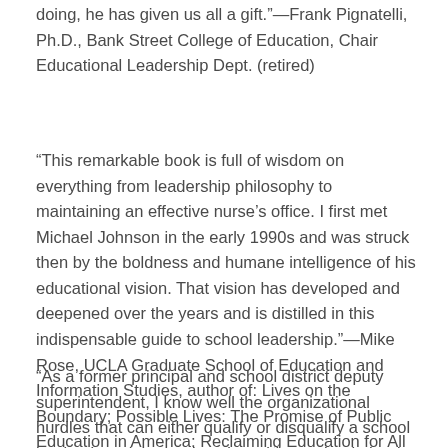doing, he has given us all a gift.”—Frank Pignatelli, Ph.D., Bank Street College of Education, Chair Educational Leadership Dept. (retired)
“This remarkable book is full of wisdom on everything from leadership philosophy to maintaining an effective nurse’s office. I first met Michael Johnson in the early 1990s and was struck then by the boldness and humane intelligence of his educational vision. That vision has developed and deepened over the years and is distilled in this indispensable guide to school leadership.”—Mike Rose, UCLA Graduate School of Education and Information Studies, author of: Lives on the Boundary; Possible Lives: The Promise of Public Education in America; Reclaiming Education for All of Us.
“As a former principal and school district deputy superintendent, I know well the organizational hurdles that can either qualify or disqualify a school leader. I read the book as I would a textbook that I would use with my graduate students, and it is clearly student and instructor